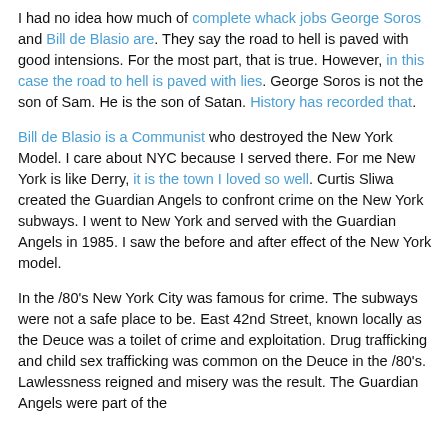I had no idea how much of complete whack jobs George Soros and Bill de Blasio are. They say the road to hell is paved with good intensions. For the most part, that is true. However, in this case the road to hell is paved with lies. George Soros is not the son of Sam. He is the son of Satan. History has recorded that.
Bill de Blasio is a Communist who destroyed the New York Model. I care about NYC because I served there. For me New York is like Derry, it is the town I loved so well. Curtis Sliwa created the Guardian Angels to confront crime on the New York subways. I went to New York and served with the Guardian Angels in 1985. I saw the before and after effect of the New York model.
In the /80's New York City was famous for crime. The subways were not a safe place to be. East 42nd Street, known locally as the Deuce was a toilet of crime and exploitation. Drug trafficking and child sex trafficking was common on the Deuce in the /80's. Lawlessness reigned and misery was the result. The Guardian Angels were part of the